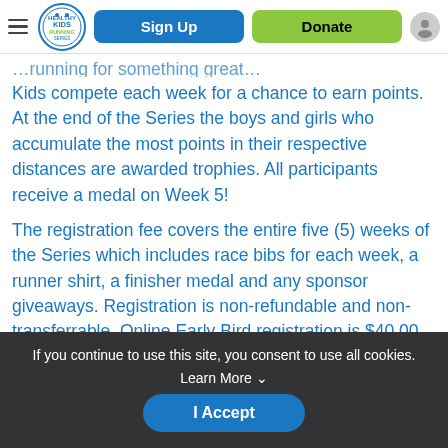Healthy Kids Running Series — Sign Up | Donate
Kids compete each week for a chance to earn points. At the end of the Series the boys and girls who accumulate the most points in their respective distances are awarded trophies. All participants receive a medal on Week 5!
The registration fee covers the entire five (5) weeks of the Series which includes race bibs for each week, a runner shirt, a finisher medal and any sponsor giveaways. Registration is non-refundable and non-transferrable. Online Early Bird registration is $40.00
If you continue to use this site, you consent to use all cookies. Learn More ˅
I Accept